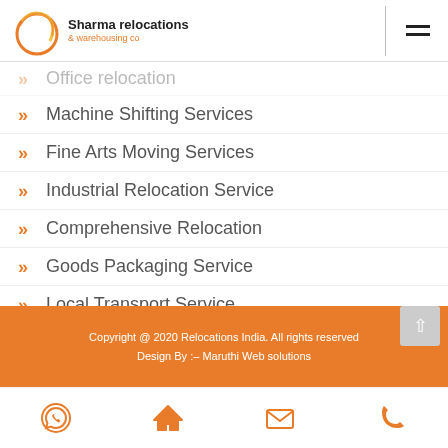Sharma relocations & warehousing co
Office relocation
Machine Shifting Services
Fine Arts Moving Services
Industrial Relocation Service
Comprehensive Relocation
Goods Packaging Service
Local Transport Service
Copyright @ 2020 Relocations India. All rights reserved Design By :– Maruthi Web solutions